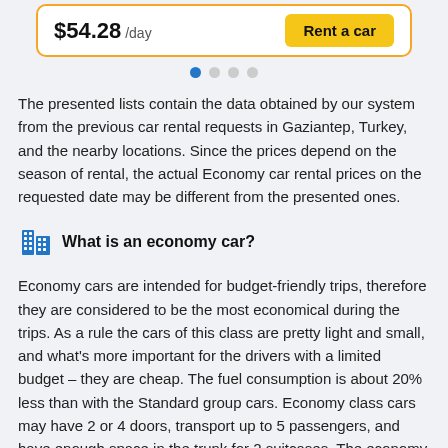[Figure (screenshot): Car rental card with price $54.28/day and yellow 'Rent a car' button, bordered in orange]
[Figure (other): Pagination dots: first dot blue (active), three dots grey]
The presented lists contain the data obtained by our system from the previous car rental requests in Gaziantep, Turkey, and the nearby locations. Since the prices depend on the season of rental, the actual Economy car rental prices on the requested date may be different from the presented ones.
What is an economy car?
Economy cars are intended for budget-friendly trips, therefore they are considered to be the most economical during the trips. As a rule the cars of this class are pretty light and small, and what's more important for the drivers with a limited budget – they are cheap. The fuel consumption is about 20% less than with the Standard group cars. Economy class cars may have 2 or 4 doors, transport up to 5 passengers, and have enough space in the trunk for 2 suitcases. The economy class cars are a bit bigger than Mini-cars.